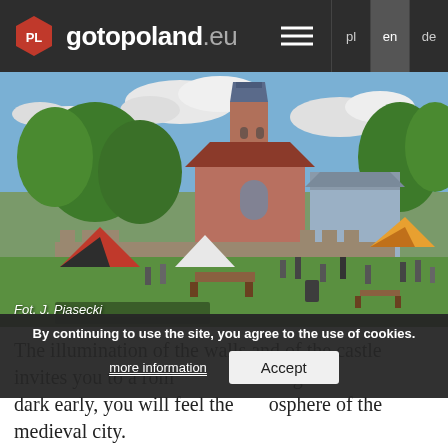gotopoland.eu
[Figure (photo): Outdoor medieval fair with colorful tents and people gathered on a green lawn in front of a historic brick church with a tall tower and red-roofed buildings, under a partly cloudy sky. Photo credit: Fot. J. Piasecki]
Fot. J. Piasecki
The illumination of the walls and of the castle invites you to a romantic walk... When it gets dark early, you will feel the atmosphere of the medieval city.
By continuing to use the site, you agree to the use of cookies.
more information
Accept